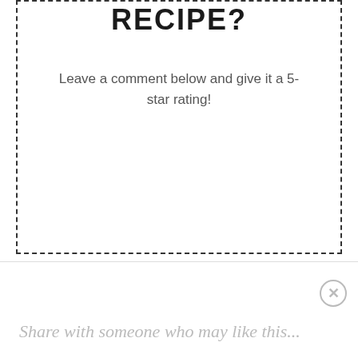RECIPE?
Leave a comment below and give it a 5-star rating!
Share with someone who may like this...